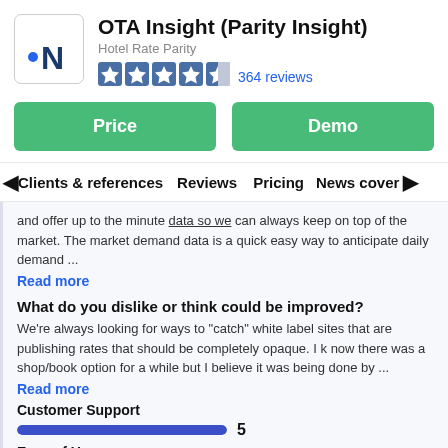[Figure (logo): OTA Insight logo: blue dot and 'N' lettermark on white background with border]
OTA Insight (Parity Insight)
Hotel Rate Parity
[Figure (other): 4.5 star rating graphic (5 blue/partial stars)]
364 reviews
Price
Demo
Clients & references   Reviews   Pricing   News cover
and offer up to the minute data so we can always keep on top of the market. The market demand data is a quick easy way to anticipate daily demand ...
Read more
What do you dislike or think could be improved?
We're always looking for ways to "catch" white label sites that are publishing rates that should be completely opaque. I k now there was a shop/book option for a while but I believe it was being done by ...
Read more
Customer Support
5
Ease of Use